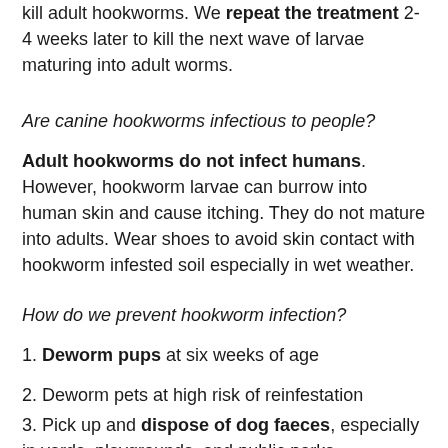kill adult hookworms. We repeat the treatment 2-4 weeks later to kill the next wave of larvae maturing into adult worms.
Are canine hookworms infectious to people?
Adult hookworms do not infect humans. However, hookworm larvae can burrow into human skin and cause itching. They do not mature into adults. Wear shoes to avoid skin contact with hookworm infested soil especially in wet weather.
How do we prevent hookworm infection?
1. Deworm pups at six weeks of age
2. Deworm pets at high risk of reinfestation
3. Pick up and dispose of dog faeces, especially in yards, playgrounds, and public parks.